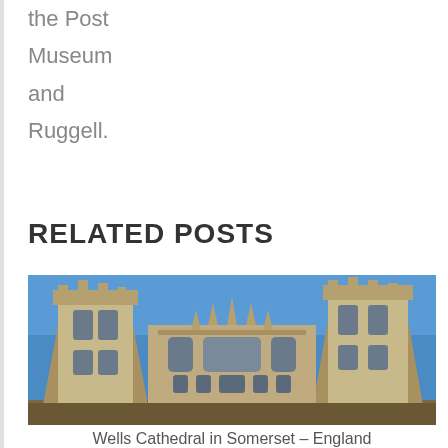the Post Museum and Ruggell.
RELATED POSTS
[Figure (photo): Wells Cathedral in Somerset, England — front facade with two large Gothic towers and ornate central section against a blue sky]
Wells Cathedral in Somerset – England